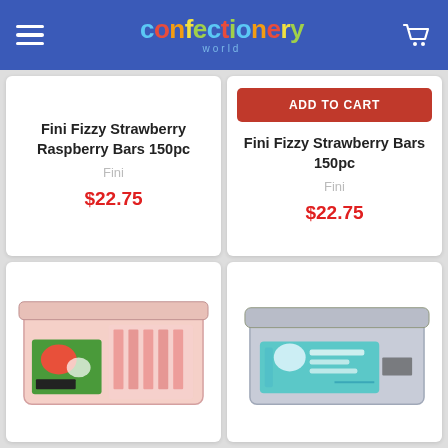Confectionery World
Fini Fizzy Strawberry Raspberry Bars 150pc
Fini
$22.75
ADD TO CART
Fini Fizzy Strawberry Bars 150pc
Fini
$22.75
[Figure (photo): Rectangular plastic container of Fini Fizzy Strawberry candies, 150pc, red and green packaging visible on side]
[Figure (photo): Rectangular gray plastic container of Fini candy, aqua/teal packaging visible on side]